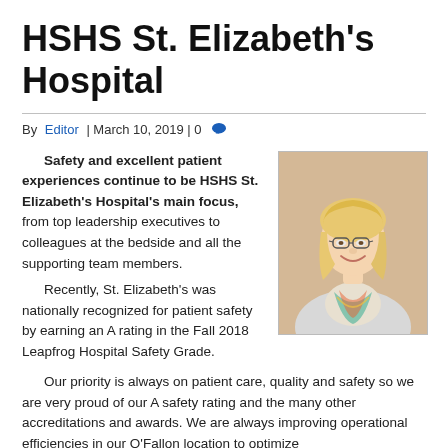HSHS St. Elizabeth's Hospital
By Editor | March 10, 2019 | 0
Safety and excellent patient experiences continue to be HSHS St. Elizabeth's Hospital's main focus, from top leadership executives to colleagues at the bedside and all the supporting team members.
    Recently, St. Elizabeth's was nationally recognized for patient safety by earning an A rating in the Fall 2018 Leapfrog Hospital Safety Grade.
[Figure (photo): Professional headshot of a smiling blonde woman with glasses wearing a light blazer and colorful scarf, against a beige background.]
Our priority is always on patient care, quality and safety so we are very proud of our A safety rating and the many other accreditations and awards. We are always improving operational efficiencies in our O'Fallon location to optimize